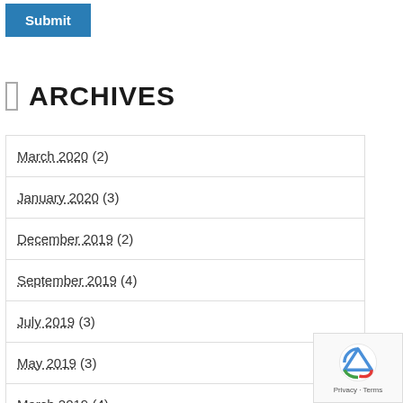Submit
ARCHIVES
March 2020 (2)
January 2020 (3)
December 2019 (2)
September 2019 (4)
July 2019 (3)
May 2019 (3)
March 2019 (4)
February 2019 (1)